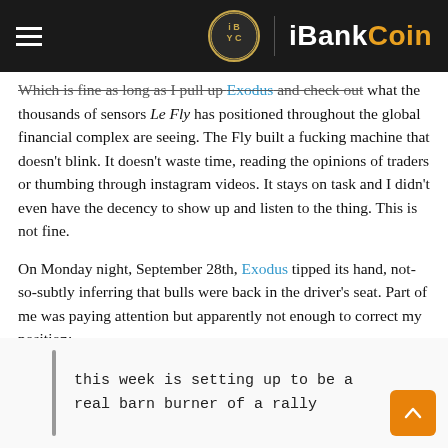iBankCoin
Which is fine as long as I pull up Exodus and check out what the thousands of sensors Le Fly has positioned throughout the global financial complex are seeing. The Fly built a fucking machine that doesn't blink. It doesn't waste time, reading the opinions of traders or thumbing through instagram videos. It stays on task and I didn't even have the decency to show up and listen to the thing. This is not fine.
On Monday night, September 28th, Exodus tipped its hand, not-so-subtly inferring that bulls were back in the driver's seat. Part of me was paying attention but apparently not enough to correct my position:
this week is setting up to be a real barn burner of a rally